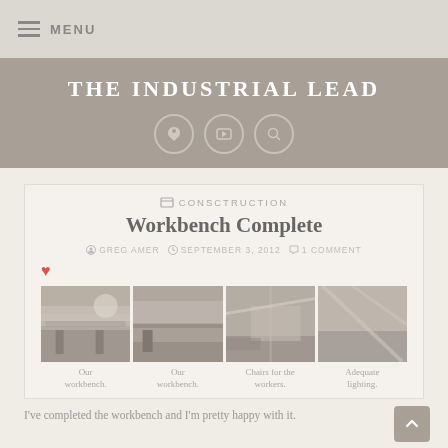MENU
THE INDUSTRIAL LEAD
CONSCTRUCTION
Workbench Complete
GREG AMER  SEPTEMBER 3, 2012  1 COMMENT
[Figure (photo): Four photos of an industrial workbench area showing the workbench, chairs for workers, and lighting]
Our workbench.  Our workbench.  Chairs for the workers.  Adequate lighting.
I've completed the workbench and I'm pretty happy with it.